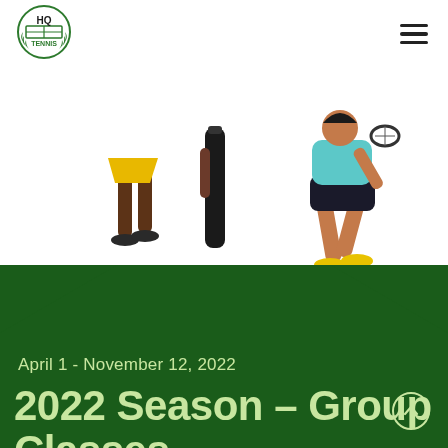[Figure (logo): HQ Tennis logo with green tennis net and laurel wreath]
[Figure (illustration): Illustration of tennis players: one in yellow skirt walking left, one carrying a racket bag in center, one in teal shirt and dark shorts running/hitting right]
April 1 - November 12, 2022
2022 Season - Group Classes